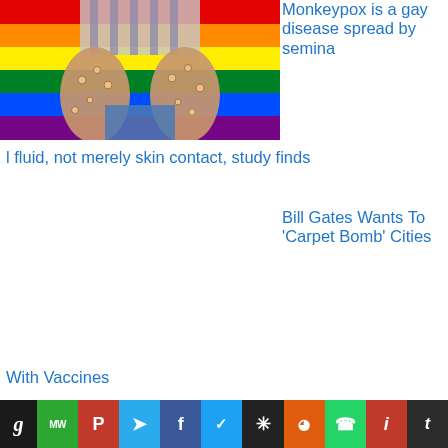[Figure (photo): Person's hands with monkeypox lesions displayed against a rainbow pride flag background]
Monkeypox is a gay disease spread by seminal fluid, not merely skin contact, study finds
Bill Gates Wants To 'Carpet Bomb' Cities With Vaccines
[Figure (infographic): Social media share bar with icons: g, MW, P, Telegram, f, Twitter bird, asterisk, Reddit, WhatsApp, i, t]